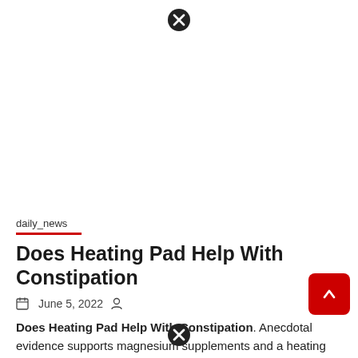[Figure (other): Close button (X) at the top center of page, black circle with white X]
[Figure (other): White advertisement area placeholder at the top of the page]
daily_news
Does Heating Pad Help With Constipation
June 5, 2022
Does Heating Pad Help With Constipation. Anecdotal evidence supports magnesium supplements and a heating pad to help relieve constipation. Proper digestion
[Figure (other): Red scroll-to-top button with upward arrow on the right side]
[Figure (other): Close button (X) at the bottom center of page, black circle with white X]